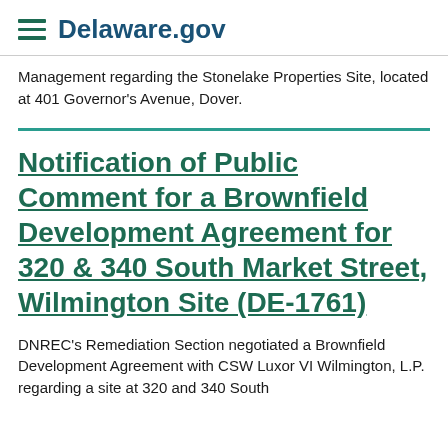Delaware.gov
Management regarding the Stonelake Properties Site, located at 401 Governor's Avenue, Dover.
Notification of Public Comment for a Brownfield Development Agreement for 320 & 340 South Market Street, Wilmington Site (DE-1761)
DNREC's Remediation Section negotiated a Brownfield Development Agreement with CSW Luxor VI Wilmington, L.P. regarding a site at 320 and 340 South